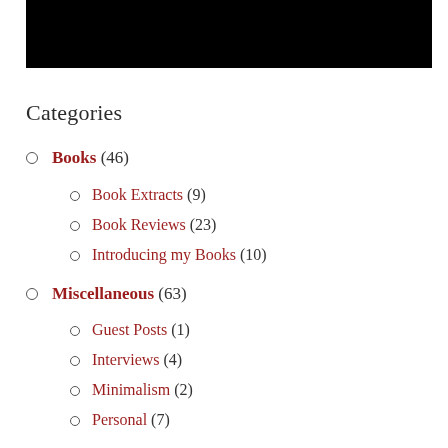[Figure (other): Black rectangle banner at top of page]
Categories
Books (46)
Book Extracts (9)
Book Reviews (23)
Introducing my Books (10)
Miscellaneous (63)
Guest Posts (1)
Interviews (4)
Minimalism (2)
Personal (7)